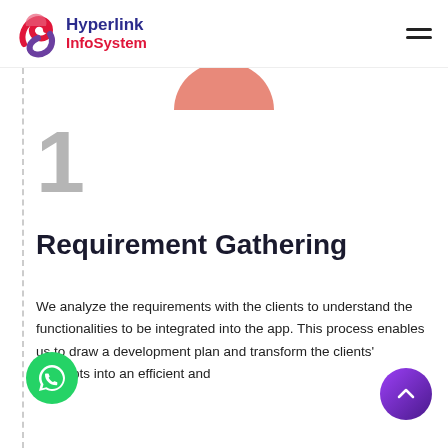Hyperlink InfoSystem
[Figure (logo): Hyperlink InfoSystem logo with stylized S icon and text]
[Figure (illustration): Pink semicircle decorative element at top center]
1
Requirement Gathering
We analyze the requirements with the clients to understand the functionalities to be integrated into the app. This process enables us to draw a development plan and transform the clients' concepts into an efficient and